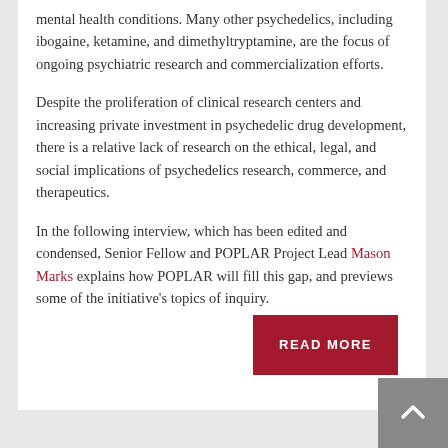mental health conditions. Many other psychedelics, including ibogaine, ketamine, and dimethyltryptamine, are the focus of ongoing psychiatric research and commercialization efforts.
Despite the proliferation of clinical research centers and increasing private investment in psychedelic drug development, there is a relative lack of research on the ethical, legal, and social implications of psychedelics research, commerce, and therapeutics.
In the following interview, which has been edited and condensed, Senior Fellow and POPLAR Project Lead Mason Marks explains how POPLAR will fill this gap, and previews some of the initiative's topics of inquiry.